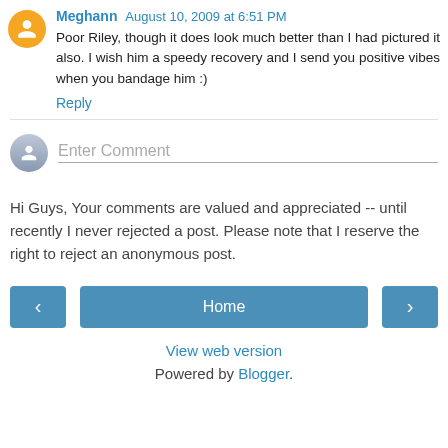Meghann  August 10, 2009 at 6:51 PM
Poor Riley, though it does look much better than I had pictured it also. I wish him a speedy recovery and I send you positive vibes when you bandage him :)
Reply
Enter Comment
Hi Guys, Your comments are valued and appreciated -- until recently I never rejected a post. Please note that I reserve the right to reject an anonymous post.
Home
View web version
Powered by Blogger.